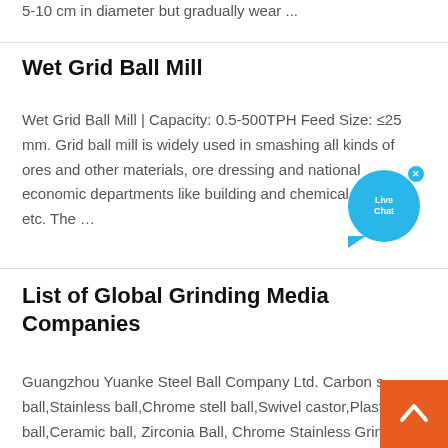5-10 cm in diameter but gradually wear ...
Wet Grid Ball Mill
Wet Grid Ball Mill | Capacity: 0.5-500TPH Feed Size: ≤25 mm. Grid ball mill is widely used in smashing all kinds of ores and other materials, ore dressing and national economic departments like building and chemical industries etc. The …
[Figure (other): Live Chat button - blue circular chat bubble with 'Live Chat' text and a close X button]
List of Global Grinding Media Companies
Guangzhou Yuanke Steel Ball Company Ltd. Carbon s... ball,Stainless ball,Chrome stell ball,Swivel castor,Plast... ball,Ceramic ball, Zirconia Ball, Chrome Stainless Grinding Media Balls, Cast Steel Forged Hollow Ball bearing, Acrylic...